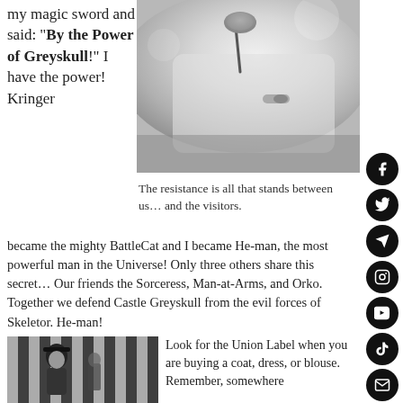my magic sword and said: “By the Power of Greyskull!” I have the power! Kringer
[Figure (photo): Close-up photo of a vintage white car door/mirror, blurry background]
The resistance is all that stands between us… and the visitors.
became the mighty BattleCat and I became He-man, the most powerful man in the Universe! Only three others share this secret… Our friends the Sorceress, Man-at-Arms, and Orko. Together we defend Castle Greyskull from the evil forces of Skeletor. He-man!
[Figure (photo): Black and white photo of a person in striped clothing and a hat]
Look for the Union Label when you are buying a coat, dress, or blouse. Remember, somewhere